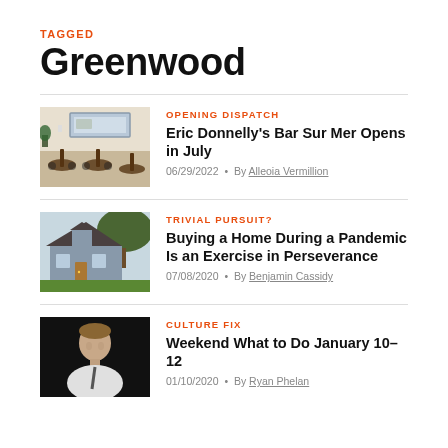TAGGED
Greenwood
[Figure (photo): Interior of Bar Sur Mer showing tables and chairs with a large mirror on the wall]
OPENING DISPATCH
Eric Donnelly's Bar Sur Mer Opens in July
06/29/2022 • By Alleoia Vermillion
[Figure (photo): Exterior of a residential home with a lawn and trees in the background]
TRIVIAL PURSUIT?
Buying a Home During a Pandemic Is an Exercise in Perseverance
07/08/2020 • By Benjamin Cassidy
[Figure (photo): Portrait of a man in a dark background, wearing a light shirt]
CULTURE FIX
Weekend What to Do January 10–12
01/10/2020 • By Ryan Phelan